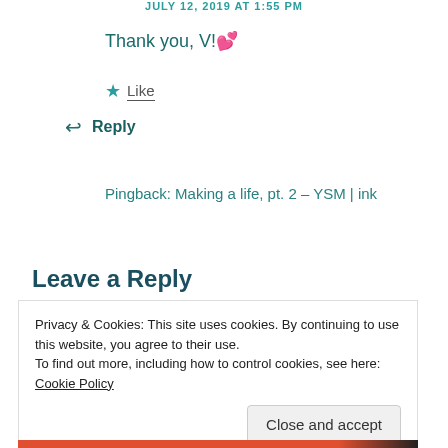JULY 12, 2019 AT 1:55 PM
Thank you, V! 💕
★ Like
↩ Reply
Pingback: Making a life, pt. 2 – YSM | ink
Leave a Reply
Privacy & Cookies: This site uses cookies. By continuing to use this website, you agree to their use.
To find out more, including how to control cookies, see here: Cookie Policy
Close and accept